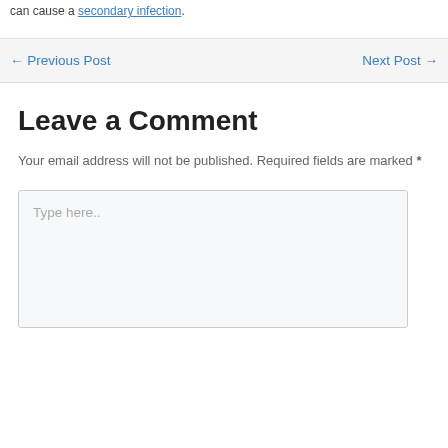can cause a secondary infection.
← Previous Post   Next Post →
Leave a Comment
Your email address will not be published. Required fields are marked *
Type here..